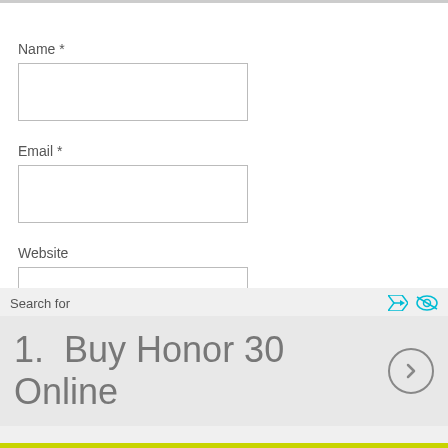Name *
Email *
Website
Search for
1.  Buy Honor 30 Online